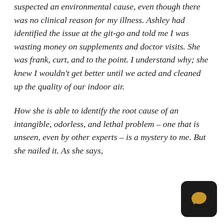suspected an environmental cause, even though there was no clinical reason for my illness. Ashley had identified the issue at the git-go and told me I was wasting money on supplements and doctor visits. She was frank, curt, and to the point. I understand why; she knew I wouldn't get better until we acted and cleaned up the quality of our indoor air.
How she is able to identify the root cause of an intangible, odorless, and lethal problem – one that is unseen, even by other experts – is a mystery to me. But she nailed it. As she says,
[Figure (other): Dark rounded square icon containing a gold/amber speech bubble/chat icon in the bottom-right corner of the page]